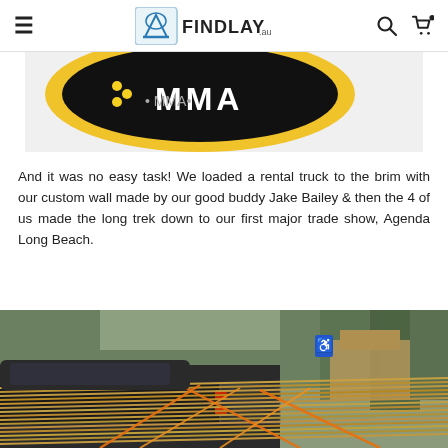Findlay.au — navigation header with hamburger menu, logo, search and cart icons
[Figure (logo): Partial MMA logo badge with gold/black circular design and text 'MMA' on a light grey background strip]
And it was no easy task! We loaded a rental truck to the brim with our custom wall made by our good buddy Jake Bailey & then the 4 of us made the long trek down to our first major trade show, Agenda Long Beach.
[Figure (photo): Photograph of a dark pickup truck from behind with bamboo/wooden poles loaded in the truck bed, secured with orange straps. Background shows trees and a building. Appears to be outdoors in daylight.]